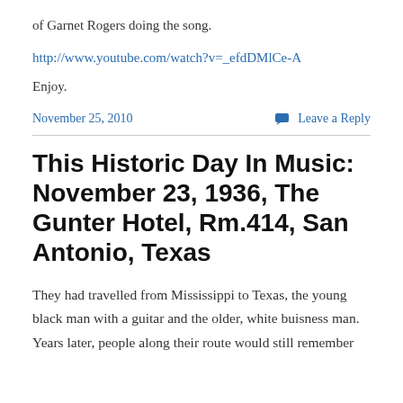of Garnet Rogers doing the song.
http://www.youtube.com/watch?v=_efdDMlCe-A
Enjoy.
November 25, 2010    Leave a Reply
This Historic Day In Music: November 23, 1936, The Gunter Hotel, Rm.414, San Antonio, Texas
They had travelled from Mississippi to Texas, the young black man with a guitar and the older, white buisness man. Years later, people along their route would still remember